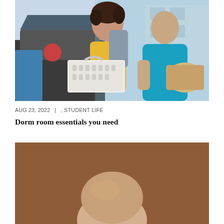[Figure (photo): A young woman in a yellow shirt carrying a white laundry basket and wearing a backpack, alongside an older man in a teal shirt holding a wicker bag, unloading items from an SUV trunk in a parking area.]
AUG 23, 2022  |  , STUDENT LIFE
Dorm room essentials you need
[Figure (photo): Close-up portrait of an older bald man against a warm brown background, showing the top of his head and forehead.]